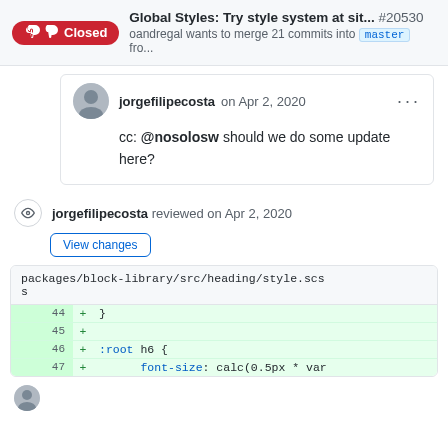Global Styles: Try style system at sit... #20530 — oandregal wants to merge 21 commits into master fro...
jorgefilipecosta on Apr 2, 2020
cc: @nosolosw should we do some update here?
jorgefilipecosta reviewed on Apr 2, 2020
View changes
packages/block-library/src/heading/style.scss
44  + }
45  +
46  + :root h6 {
47  +        font-size: calc(0.5px * var